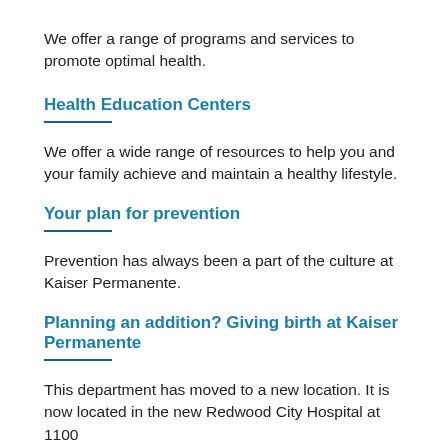We offer a range of programs and services to promote optimal health.
Health Education Centers
We offer a wide range of resources to help you and your family achieve and maintain a healthy lifestyle.
Your plan for prevention
Prevention has always been a part of the culture at Kaiser Permanente.
Planning an addition? Giving birth at Kaiser Permanente
This department has moved to a new location. It is now located in the new Redwood City Hospital at 1100